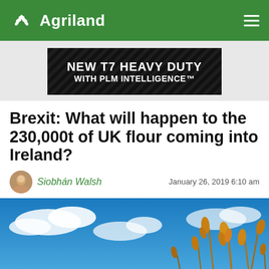Agriland
[Figure (other): Advertisement banner: NEW T7 HEAVY DUTY WITH PLM INTELLIGENCE™ on dark background with diagonal stripe pattern]
Brexit: What will happen to the 230,000t of UK flour coming into Ireland?
Siobhán Walsh — January 26, 2019 6:10 am
[Figure (photo): Close-up of golden wheat stalks against a bright blue sky with white clouds]
[Figure (other): Social sharing bar with email, Twitter, WhatsApp, and Facebook icons]